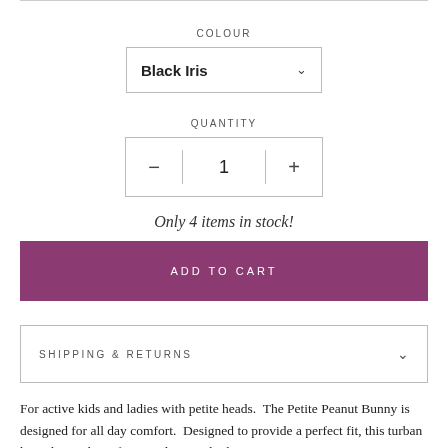COLOUR
Black Iris ∨
QUANTITY
− 1 +
Only 4 items in stock!
ADD TO CART
SHIPPING & RETURNS
For active kids and ladies with petite heads.  The Petite Peanut Bunny is designed for all day comfort.  Designed to provide a perfect fit, this turban has a loose shape for a cool sporty look.